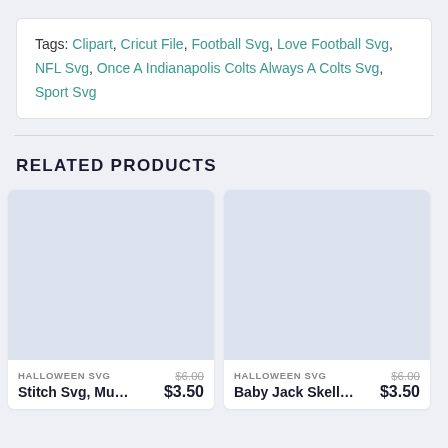Tags: Clipart, Cricut File, Football Svg, Love Football Svg, NFL Svg, Once A Indianapolis Colts Always A Colts Svg, Sport Svg
RELATED PRODUCTS
[Figure (other): Product card placeholder image for Stitch Svg, Mu...]
HALLOWEEN SVG
Stitch Svg, Mu...
$6.00
$3.50
[Figure (other): Product card placeholder image for Baby Jack Skell...]
HALLOWEEN SVG
Baby Jack Skell...
$6.00
$3.50